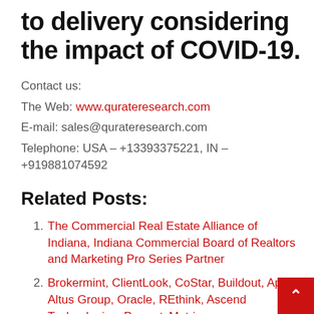to delivery considering the impact of COVID-19.
Contact us:
The Web: www.qurateresearch.com
E-mail: sales@qurateresearch.com
Telephone: USA – +13393375221, IN – +919881074592
Related Posts:
The Commercial Real Estate Alliance of Indiana, Indiana Commercial Board of Realtors and Marketing Pro Series Partner
Brokermint, ClientLook, CoStar, Buildout, Apto, Altus Group, Oracle, REthink, Ascend Technologies, PropertyMetrics,